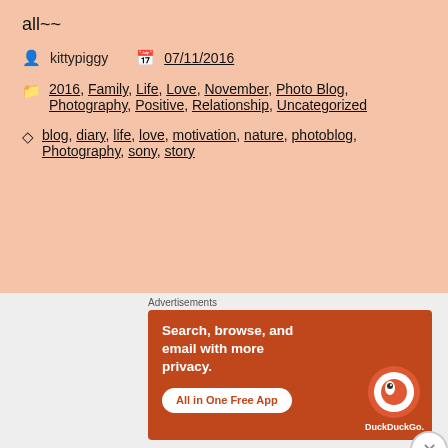all~~
kitttypiggy   07/11/2016
2016, Family, Life, Love, November, Photo Blog, Photography, Positive, Relationship, Uncategorized
blog, diary, life, love, motivation, nature, photoblog, Photography, sony, story
Happy New Year 2016
Time flies...and the first week of January 2016
[Figure (screenshot): DuckDuckGo advertisement banner: 'Search, browse, and email with more privacy. All in One Free App' with DuckDuckGo logo on orange/red background]